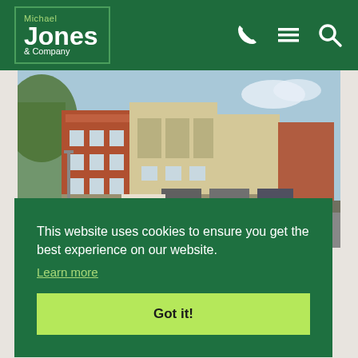[Figure (logo): Michael Jones & Company logo in white on dark green background with phone, menu and search icons]
[Figure (photo): Exterior photo of red brick and cream apartment buildings along a suburban road with parked cars and trees]
This website uses cookies to ensure you get the best experience on our website.
Learn more
Got it!